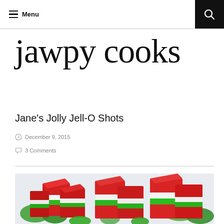Menu
jawpy cooks
Jane's Jolly Jell-O Shots
December 9, 2015
3 Comments
[Figure (photo): Colorful layered Jell-O shots in red, white, and green stacked cubes on a white tray with green garnish]